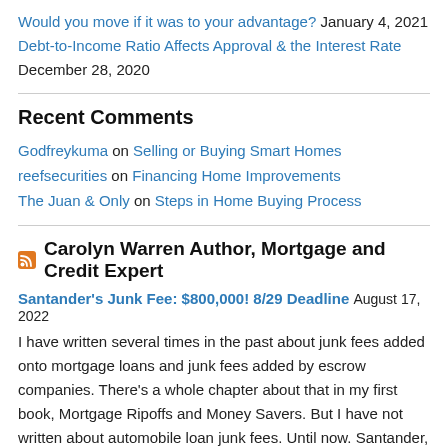Would you move if it was to your advantage? January 4, 2021
Debt-to-Income Ratio Affects Approval & the Interest Rate December 28, 2020
Recent Comments
Godfreykuma on Selling or Buying Smart Homes
reefsecurities on Financing Home Improvements
The Juan & Only on Steps in Home Buying Process
Carolyn Warren Author, Mortgage and Credit Expert
Santander's Junk Fee: $800,000! 8/29 Deadline August 17, 2022
I have written several times in the past about junk fees added onto mortgage loans and junk fees added by escrow companies. There's a whole chapter about that in my first book, Mortgage Ripoffs and Money Savers. But I have not written about automobile loan junk fees. Until now. Santander, the subprime lender for auto … Continue reading Santander's Junk Fee […]